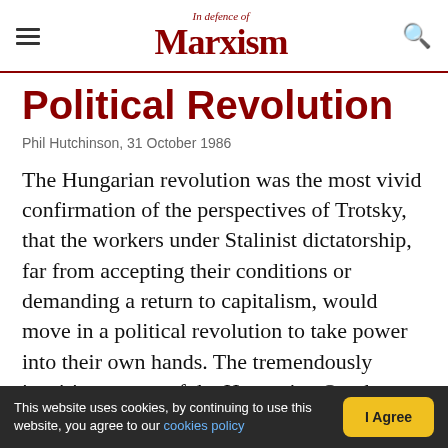In defence of Marxism
Political Revolution
Phil Hutchinson, 31 October 1986
The Hungarian revolution was the most vivid confirmation of the perspectives of Trotsky, that the workers under Stalinist dictatorship, far from accepting their conditions or demanding a return to capitalism, would move in a political revolution to take power into their own hands. The tremendously inspiring events of the Hungarian October are full of lessons for the workers of Eastern Europe and the whole world.
This website uses cookies, by continuing to use this website, you agree to our cookies policy  I Agree